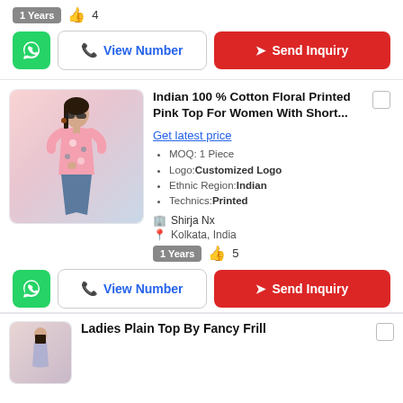1 Years 👍 4
WhatsApp | View Number | Send Inquiry
[Figure (photo): Woman wearing pink floral printed top with short sleeves, sunglasses, and jeans]
Indian 100 % Cotton Floral Printed Pink Top For Women With Short...
Get latest price
MOQ: 1 Piece
Logo:Customized Logo
Ethnic Region:Indian
Technics:Printed
Shirja Nx
Kolkata, India
1 Years 👍 5
WhatsApp | View Number | Send Inquiry
[Figure (photo): Woman in bottom product card]
Ladies Plain Top By Fancy Frill